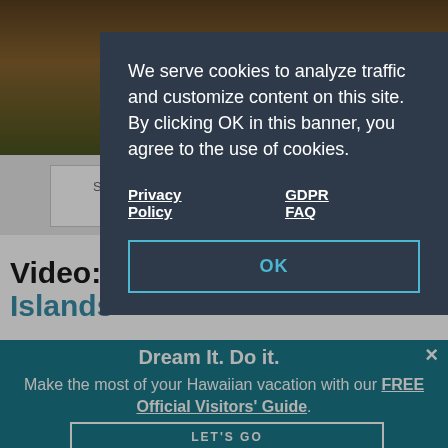[Figure (screenshot): Background photo of Hawaiian landscape at dusk/golden hour, dark foliage and sky visible]
SEARCH HAWAII ATTRACTIONS AND ACTIVITIES
BACK TO TOP
Video: Discover the Hawaiian Islands
[Figure (screenshot): Cookie consent modal overlay with dark blue-grey background containing cookie policy message, Privacy Policy and GDPR FAQ links, and OK button]
We serve cookies to analyze traffic and customize content on this site. By clicking OK in this banner, you agree to the use of cookies.
Privacy Policy
GDPR FAQ
OK
Dream It. Do it.
Make the most of your Hawaiian vacation with our FREE Official Visitors' Guide.
LET'S GO